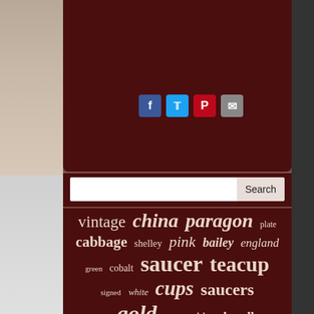[Figure (screenshot): Dark red/brown website panel with social share icons for Facebook, Twitter, Pinterest, and email]
[Figure (screenshot): Search bar with text input and Search button on dark red background]
[Figure (infographic): Tag cloud on dark red background featuring words: vintage, china, paragon, plate, cabbage, shelley, pink, bailey, england, saucer, teacup, green, cobalt, cups, saucers, signed, white, gold, rare, blue, handle, coffee, chinese, teapot, antique, royal, painted, limoges, aynsley, bone, roses, porcelain, floral]